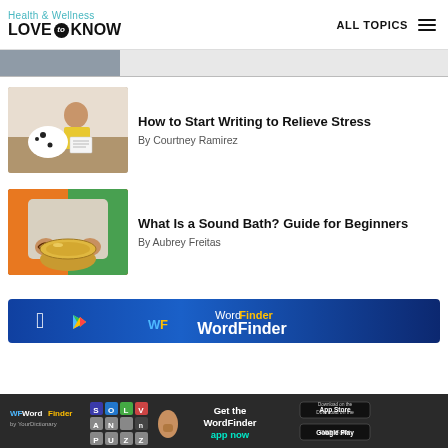Health & Wellness LOVE to KNOW — ALL TOPICS
[Figure (photo): Partial image at top, person partially visible]
How to Start Writing to Relieve Stress
By Courtney Ramirez
[Figure (photo): Woman in yellow top sitting with dog, writing in notebook]
What Is a Sound Bath? Guide for Beginners
By Aubrey Freitas
[Figure (photo): Person holding a Tibetan singing bowl]
[Figure (screenshot): WordFinder app advertisement banner with Apple and Google Play logos]
[Figure (screenshot): WordFinder bottom banner ad – Get the WordFinder app now, App Store and Google Play badges]